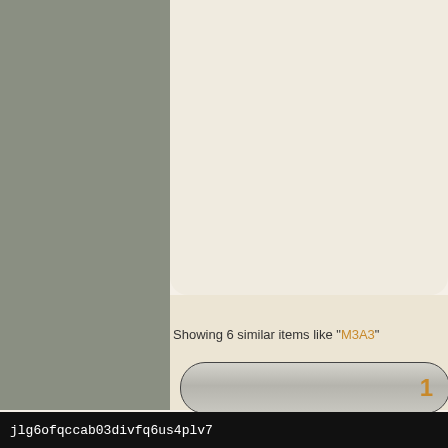Showing 6 similar items like "M3A3"
1-35 Scale. Radial engineer parts, rubber tracks, detailed loading breach. Skill level 2
jlg6ofqccab03divfq6us4plv7